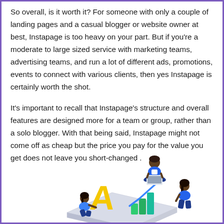So overall, is it worth it? For someone with only a couple of landing pages and a casual blogger or website owner at best, Instapage is too heavy on your part. But if you're a moderate to large sized service with marketing teams, advertising teams, and run a lot of different ads, promotions, events to connect with various clients, then yes Instapage is certainly worth the shot.
It's important to recall that Instapage's structure and overall features are designed more for a team or group, rather than a solo blogger. With that being said, Instapage might not come off as cheap but the price you pay for the value you get does not leave you short-changed .
[Figure (illustration): Colorful isometric illustration showing three people working with large letters 'A' in yellow and charts/graphs in green and blue, set on white geometric blocks. One person sits cross-legged on top with a laptop, another sits on the right, and one crouches on the left.]